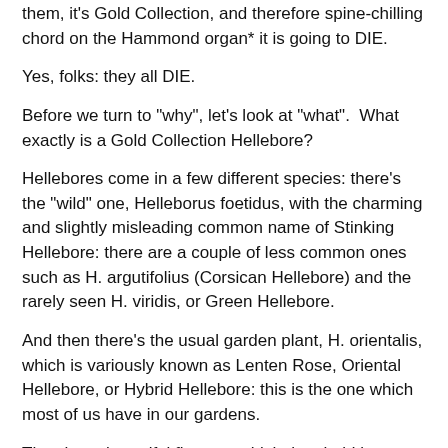them, it's Gold Collection, and therefore spine-chilling chord on the Hammond organ* it is going to DIE.
Yes, folks: they all DIE.
Before we turn to "why", let's look at "what".  What exactly is a Gold Collection Hellebore?
Hellebores come in a few different species: there's the "wild" one, Helleborus foetidus, with the charming and slightly misleading common name of Stinking Hellebore: there are a couple of less common ones such as H. argutifolius (Corsican Hellebore) and the rarely seen H. viridis, or Green Hellebore.
And then there's the usual garden plant, H. orientalis, which is variously known as Lenten Rose, Oriental Hellebore, or Hybrid Hellebore: this is the one which most of us have in our gardens.
They have beautiful flowers, which they hold in a lovely Princess-Diana-like wilting stoop, so that in order to properly appreciate them, you have to stop, bend over, and gently turn them up to face you.